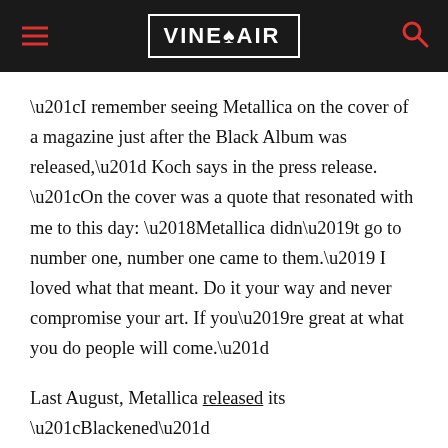VinePair
“I remember seeing Metallica on the cover of a magazine just after the Black Album was released,” Koch says in the press release. “On the cover was a quote that resonated with me to this day: ‘Metallica didn’t go to number one, number one came to them.’ I loved what that meant. Do it your way and never compromise your art. If you’re great at what you do people will come.”
Last August, Metallica released its “Blackened”